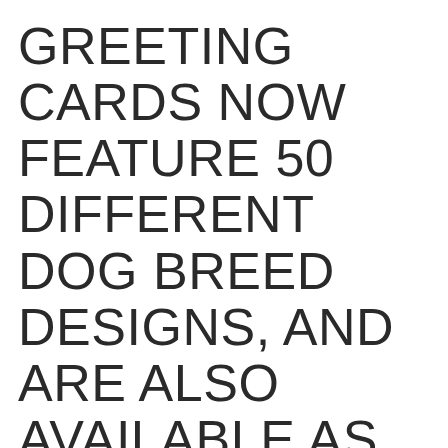GREETING CARDS NOW FEATURE 50 DIFFERENT DOG BREED DESIGNS, AND ARE ALSO AVAILABLE AS WHOESALE PRODUCTS
These beautiful  Dog Greeting cards feature 50 different dog breed designs from our Dogs and Rescue range of cards.  All are original artworks by Australian Artist Alison Archbold, from Archbold Design, and have been painted from real dogs, most of whom were rescue animals.